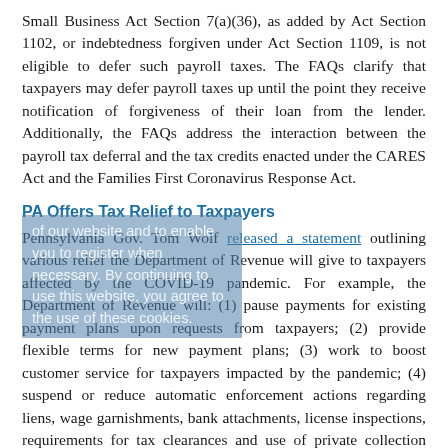Small Business Act Section 7(a)(36), as added by Act Section 1102, or indebtedness forgiven under Act Section 1109, is not eligible to defer such payroll taxes. The FAQs clarify that taxpayers may defer payroll taxes up until the point they receive notification of forgiveness of their loan from the lender. Additionally, the FAQs address the interaction between the payroll tax deferral and the tax credits enacted under the CARES Act and the Families First Coronavirus Response Act.
PA Offers Tax Relief to Taxpayers
Pennsylvania Gov. Tom Wolf released a statement outlining various relief the Department of Revenue will give to taxpayers affected by the COVID-19 pandemic. For example, the Department of Revenue will: (1) pause payments for existing payment plans upon requests from taxpayers; (2) provide flexible terms for new payment plans; (3) work to boost customer service for taxpayers impacted by the pandemic; (4) suspend or reduce automatic enforcement actions regarding liens, wage garnishments, bank attachments, license inspections, requirements for tax clearances and use of private collection agencies; (5) suspend the creation of new desk reviews and field audits in most cases; (6) suspend in-person meetings with taxpayers in most cases; (7) broaden audit penalty abatement and interest relief; (8) continue to administer tax credit and incentive programs; and, (9) abate penalties in most cases if taxpayers have remitted trust fund taxes they collected. Additional information can be